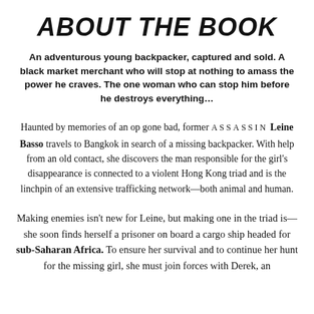ABOUT THE BOOK
An adventurous young backpacker, captured and sold. A black market merchant who will stop at nothing to amass the power he craves. The one woman who can stop him before he destroys everything…
Haunted by memories of an op gone bad, former assassin Leine Basso travels to Bangkok in search of a missing backpacker. With help from an old contact, she discovers the man responsible for the girl's disappearance is connected to a violent Hong Kong triad and is the linchpin of an extensive trafficking network—both animal and human.
Making enemies isn't new for Leine, but making one in the triad is—she soon finds herself a prisoner on board a cargo ship headed for sub-Saharan Africa. To ensure her survival and to continue her hunt for the missing girl, she must join forces with Derek, an